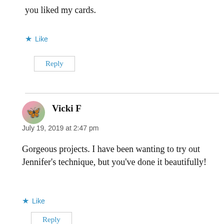you liked my cards.
★ Like
Reply
Vicki F
July 19, 2019 at 2:47 pm
Gorgeous projects. I have been wanting to try out Jennifer's technique, but you've done it beautifully!
★ Like
Reply